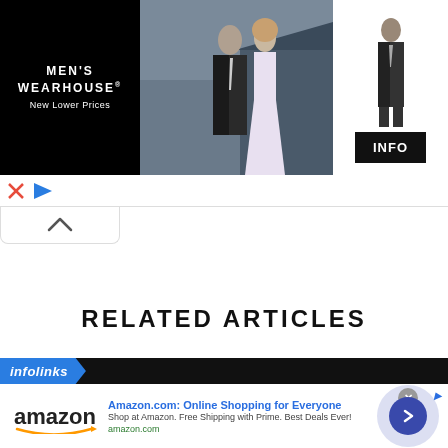[Figure (screenshot): Men's Wearhouse advertisement banner showing a couple in formal/wedding attire on the left-center, a suited figure on the right, black left panel with brand name and tagline 'New Lower Prices', and an INFO button]
[Figure (screenshot): Ad control bar with X close icon and triangular play/ad indicator icon, and a scroll-up chevron button]
RELATED ARTICLES
[Figure (screenshot): Infolinks bar with logo, Amazon.com ad showing Amazon logo, title 'Amazon.com: Online Shopping for Everyone', description 'Shop at Amazon. Free Shipping with Prime. Best Deals Ever!', URL 'amazon.com', close X button, and a blue arrow circle button]